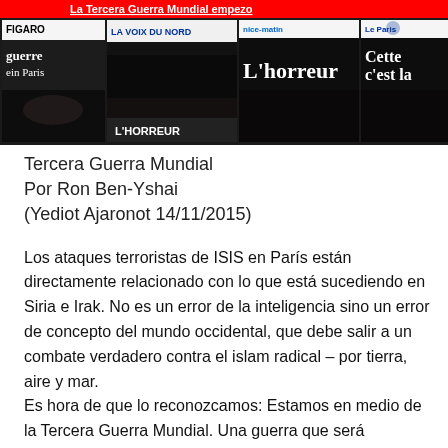[Figure (photo): Collage of French newspaper front pages showing coverage of the November 2015 Paris terrorist attacks, with headlines including 'La Tercera Guerra Mundial empezo', 'Le Figaro', 'La Voix du Nord', 'nice-matin', 'Le Parisien', 'L'horreur', 'Cette c'est la', 'L'HORREUR', 'La guerre en Paris'. Dark night scene photos of streets visible.]
Tercera Guerra Mundial
Por Ron Ben-Yshai
(Yediot Ajaronot 14/11/2015)
Los ataques terroristas de ISIS en París están directamente relacionado con lo que está sucediendo en Siria e Irak. No es un error de la inteligencia sino un error de concepto del mundo occidental, que debe salir a un combate verdadero contra el islam radical – por tierra, aire y mar.
Es hora de que lo reconozcamos: Estamos en medio de la Tercera Guerra Mundial. Una guerra que será diferente